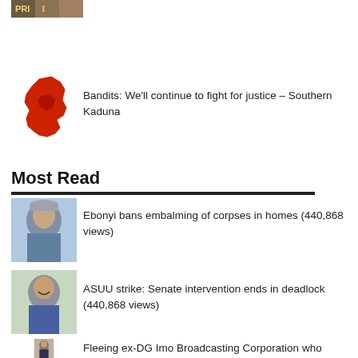[Figure (photo): Partial image strip at top of page, appears to be text/logo fragment]
[Figure (map): Red map of Southern Kaduna region]
Bandits: We'll continue to fight for justice – Southern Kaduna
Most Read
[Figure (photo): Headshot of person wearing hat]
Ebonyi bans embalming of corpses in homes (440,868 views)
[Figure (photo): Headshot of smiling person]
ASUU strike: Senate intervention ends in deadlock (440,868 views)
[Figure (photo): Headshot of person in suit]
I've no Coronavirus, govt wants to kill me – Anambra Index case (440,868 views)
[Figure (photo): Thumbnail image]
Fleeing ex-DG Imo Broadcasting Corporation who stabbed wife to death